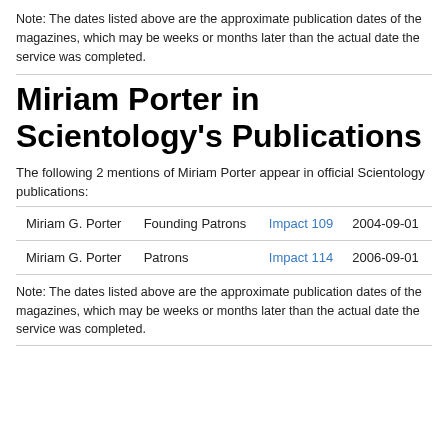Note: The dates listed above are the approximate publication dates of the magazines, which may be weeks or months later than the actual date the service was completed.
Miriam Porter in Scientology's Publications
The following 2 mentions of Miriam Porter appear in official Scientology publications:
| Name | Category | Publication | Date |
| --- | --- | --- | --- |
| Miriam G. Porter | Founding Patrons | Impact 109 | 2004-09-01 |
| Miriam G. Porter | Patrons | Impact 114 | 2006-09-01 |
Note: The dates listed above are the approximate publication dates of the magazines, which may be weeks or months later than the actual date the service was completed.